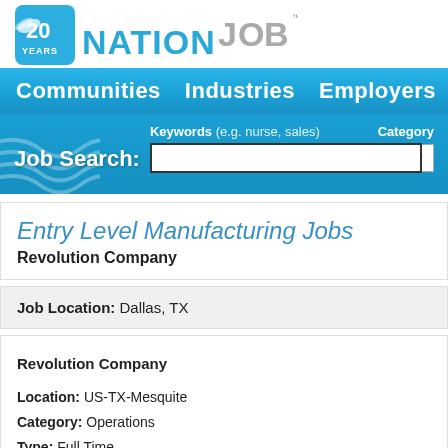[Figure (logo): NationJob 20 Years logo with blue badge and gray/blue brand name text]
Communities  Industries  Employers
Job Search:  Keywords (e.g. nurse, sales)  Category  --Any Ca
Entry Level Manufacturing Jobs
Revolution Company
Job Location: Dallas, TX
Revolution Company
Location: US-TX-Mesquite
Category: Operations
Type: Full Time